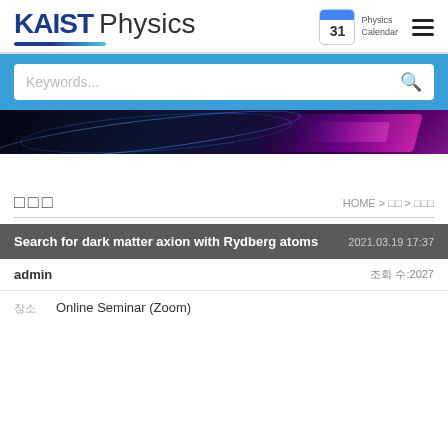[Figure (logo): KAIST Physics logo with blue underline]
[Figure (screenshot): Search bar with Keywords placeholder and magnifier icon on blue background, followed by dark blue wave/physics hero image]
□□□
HOME > □□ > □□□
Search for dark matter axion with Rydberg atoms
2021.03.19 17:37
admin
조회 수:2027
장소	Online Seminar (Zoom)